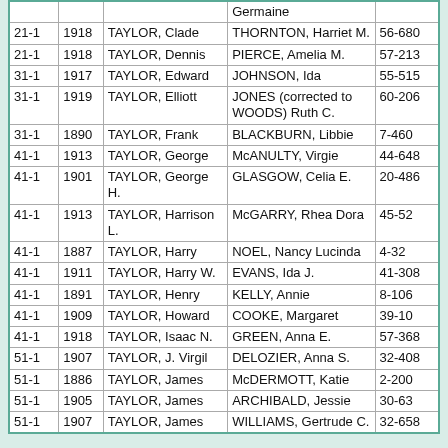|  |  |  | Germaine |  |
| 21-1 | 1918 | TAYLOR, Clade | THORNTON, Harriet M. | 56-680 |
| 21-1 | 1918 | TAYLOR, Dennis | PIERCE, Amelia M. | 57-213 |
| 31-1 | 1917 | TAYLOR, Edward | JOHNSON, Ida | 55-515 |
| 31-1 | 1919 | TAYLOR, Elliott | JONES (corrected to WOODS) Ruth C. | 60-206 |
| 31-1 | 1890 | TAYLOR, Frank | BLACKBURN, Libbie | 7-460 |
| 41-1 | 1913 | TAYLOR, George | McANULTY, Virgie | 44-648 |
| 41-1 | 1901 | TAYLOR, George H. | GLASGOW, Celia E. | 20-486 |
| 41-1 | 1913 | TAYLOR, Harrison L. | McGARRY, Rhea Dora | 45-52 |
| 41-1 | 1887 | TAYLOR, Harry | NOEL, Nancy Lucinda | 4-32 |
| 41-1 | 1911 | TAYLOR, Harry W. | EVANS, Ida J. | 41-308 |
| 41-1 | 1891 | TAYLOR, Henry | KELLY, Annie | 8-106 |
| 41-1 | 1909 | TAYLOR, Howard | COOKE, Margaret | 39-10 |
| 41-1 | 1918 | TAYLOR, Isaac N. | GREEN, Anna E. | 57-368 |
| 51-1 | 1907 | TAYLOR, J. Virgil | DELOZIER, Anna S. | 32-408 |
| 51-1 | 1886 | TAYLOR, James | McDERMOTT, Katie | 2-200 |
| 51-1 | 1905 | TAYLOR, James | ARCHIBALD, Jessie | 30-63 |
| 51-1 | 1907 | TAYLOR, James | WILLIAMS, Gertrude C. | 32-658 |